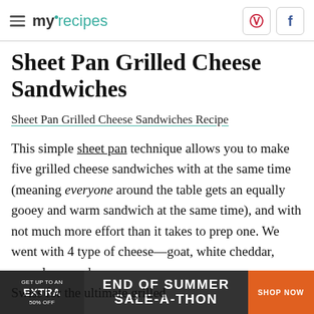myrecipes — Pinterest, Facebook
Sheet Pan Grilled Cheese Sandwiches
Sheet Pan Grilled Cheese Sandwiches Recipe
This simple sheet pan technique allows you to make five grilled cheese sandwiches with at the same time (meaning everyone around the table gets an equally gooey and warm sandwich at the same time), and with not much more effort than it takes to prep one. We went with 4 type of cheese—goat, white cheddar, provolone, and Swiss for the ultimate grilled cheese. The extra cheese
[Figure (infographic): Advertisement banner: GET UP TO AN EXTRA 50% OFF | END OF SUMMER SALE-A-THON | SHOP NOW]